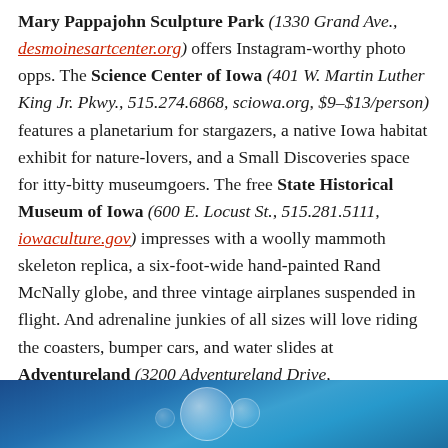Mary Pappajohn Sculpture Park (1330 Grand Ave., desmoinesartcenter.org) offers Instagram-worthy photo opps. The Science Center of Iowa (401 W. Martin Luther King Jr. Pkwy., 515.274.6868, sciowa.org, $9–$13/person) features a planetarium for stargazers, a native Iowa habitat exhibit for nature-lovers, and a Small Discoveries space for itty-bitty museumgoers. The free State Historical Museum of Iowa (600 E. Locust St., 515.281.5111, iowaculture.gov) impresses with a woolly mammoth skeleton replica, a six-foot-wide hand-painted Rand McNally globe, and three vintage airplanes suspended in flight. And adrenaline junkies of all sizes will love riding the coasters, bumper cars, and water slides at Adventureland (3200 Adventureland Drive, 515.266.2121, adventurelandresort.com, $40–$45/person), just northeast of Des Moines in nearby Altoona.
[Figure (photo): Photo strip at bottom of page showing a bubble or sphere shape with blue/teal water background]